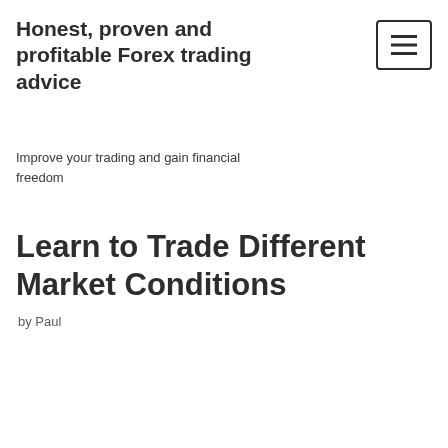Honest, proven and profitable Forex trading advice
Improve your trading and gain financial freedom
Learn to Trade Different Market Conditions
by Paul